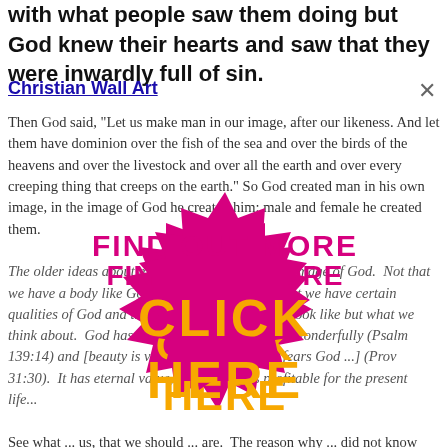with what people saw them doing but God knew their hearts and saw that they were inwardly full of sin.
Christian Wall Art
Then God said, "Let us make man in our image, after our likeness. And let them have dominion over the fish of the sea and over the birds of the heavens and over the livestock and over all the earth and over every creeping thing that creeps on the earth." So God created man in his own image, in the image of God he created him; male and female he created them.
The older ideas about me and about God are the image of God. Not that we have a body like God because God is Spirit but we have certain qualities of God and they are not about what we look like but what we think about. God has declared that we are made wonderfully (Psalm 139:14) and [beauty is vain, but a woman who fears God ...] (Prov 31:30). It has eternal value, godliness ... is profitable for the present life...
[Figure (infographic): Bright magenta/pink starburst badge with orange text reading 'FIND OUT MORE' at the top and 'CLICK HERE' in large letters at the bottom center, overlaid on the article text.]
See what ... us, that we should ... are. The reason why ... did not know him now, and